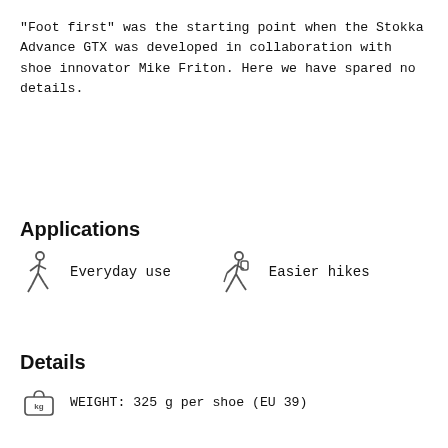"Foot first" was the starting point when the Stokka Advance GTX was developed in collaboration with shoe innovator Mike Friton. Here we have spared no details.
Applications
Everyday use
Easier hikes
Details
WEIGHT: 325 g per shoe (EU 39)